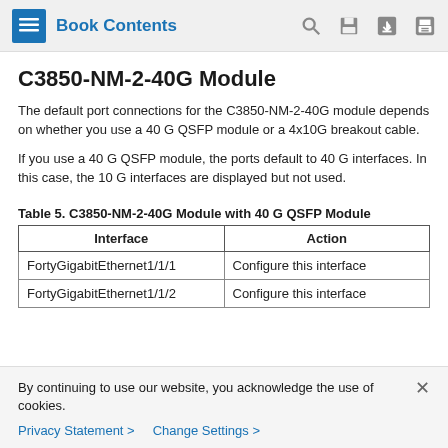Book Contents
C3850-NM-2-40G Module
The default port connections for the C3850-NM-2-40G module depends on whether you use a 40 G QSFP module or a 4x10G breakout cable.
If you use a 40 G QSFP module, the ports default to 40 G interfaces. In this case, the 10 G interfaces are displayed but not used.
Table 5. C3850-NM-2-40G Module with 40 G QSFP Module
| Interface | Action |
| --- | --- |
| FortyGigabitEthernet1/1/1 | Configure this interface |
| FortyGigabitEthernet1/1/2 | Configure this interface |
By continuing to use our website, you acknowledge the use of cookies.
Privacy Statement >   Change Settings >